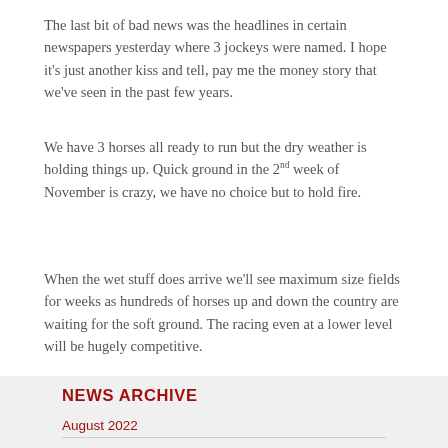The last bit of bad news was the headlines in certain newspapers yesterday where 3 jockeys were named. I hope it's just another kiss and tell, pay me the money story that we've seen in the past few years.
We have 3 horses all ready to run but the dry weather is holding things up. Quick ground in the 2nd week of November is crazy, we have no choice but to hold fire.
When the wet stuff does arrive we'll see maximum size fields for weeks as hundreds of horses up and down the country are waiting for the soft ground. The racing even at a lower level will be hugely competitive.
NEWS ARCHIVE
August 2022